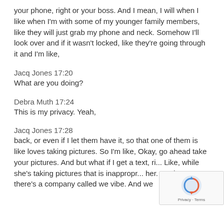your phone, right or your boss. And I mean, I will when I like when I'm with some of my younger family members, like they will just grab my phone and neck. Somehow I'll look over and if it wasn't locked, like they're going through it and I'm like,
Jacq Jones 17:20
What are you doing?
Debra Muth 17:24
This is my privacy. Yeah,
Jacq Jones 17:28
back, or even if I let them have it, so that one of them is like loves taking pictures. So I'm like, Okay, go ahead take your pictures. And but what if I get a text, ri... Like, while she's taking pictures that is inappropr... her. So that's there's a company called we vibe. And we